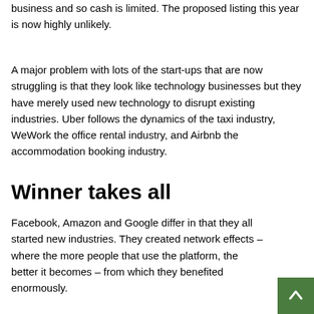business and so cash is limited. The proposed listing this year is now highly unlikely.
A major problem with lots of the start-ups that are now struggling is that they look like technology businesses but they have merely used new technology to disrupt existing industries. Uber follows the dynamics of the taxi industry, WeWork the office rental industry, and Airbnb the accommodation booking industry.
Winner takes all
Facebook, Amazon and Google differ in that they all started new industries. They created network effects – where the more people that use the platform, the better it becomes – from which they benefited enormously.